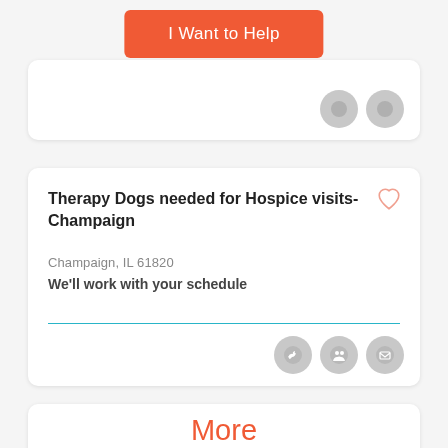[Figure (other): Orange 'I Want to Help' button]
[Figure (other): Top card showing two grey circle icons at bottom right (partial card)]
Therapy Dogs needed for Hospice visits- Champaign
Champaign, IL 61820
We'll work with your schedule
[Figure (other): Three grey circle icons: bird/twitter, people/group, envelope/email]
More Opportunities